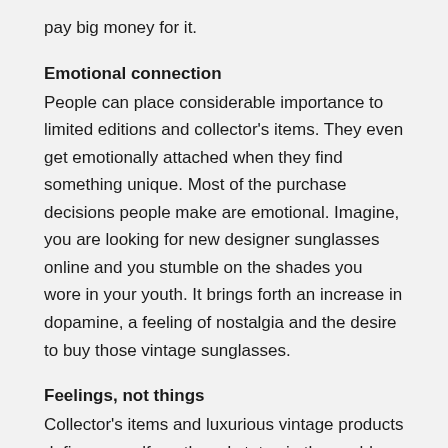pay big money for it.
Emotional connection
People can place considerable importance to limited editions and collector's items. They even get emotionally attached when they find something unique. Most of the purchase decisions people make are emotional. Imagine, you are looking for new designer sunglasses online and you stumble on the shades you wore in your youth. It brings forth an increase in dopamine, a feeling of nostalgia and the desire to buy those vintage sunglasses.
Feelings, not things
Collector's items and luxurious vintage products define our self-worth and status in the world. We don't buy things, we buy the fulfillment of our feelings. You don't buy a